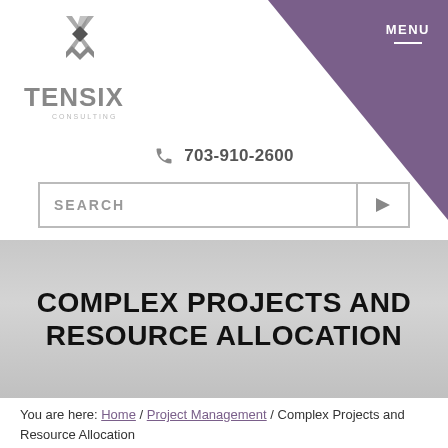[Figure (logo): TenSix Consulting logo - stylized X/M symbol above text TENSIX CONSULTING]
MENU
703-910-2600
SEARCH
COMPLEX PROJECTS AND RESOURCE ALLOCATION
You are here: Home / Project Management / Complex Projects and Resource Allocation